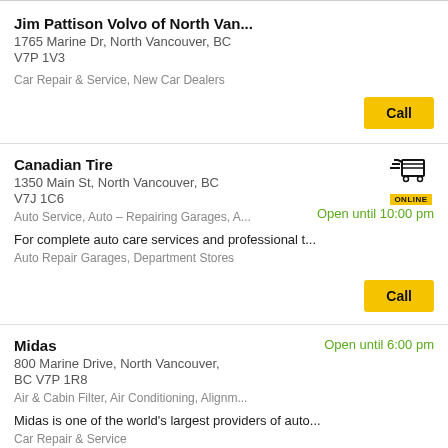Jim Pattison Volvo of North Van...
1765 Marine Dr, North Vancouver, BC
V7P 1V3
Car Repair & Service, New Car Dealers
Call
Canadian Tire
1350 Main St, North Vancouver, BC
V7J 1C6
Auto Service, Auto - Repairing Garages, A...
Open until 10:00 pm
For complete auto care services and professional t...
Auto Repair Garages, Department Stores
Call
Midas
800 Marine Drive, North Vancouver, BC V7P 1R8
Air & Cabin Filter, Air Conditioning, Alignm...
Open until 6:00 pm
Midas is one of the world's largest providers of auto...
Car Repair & Service